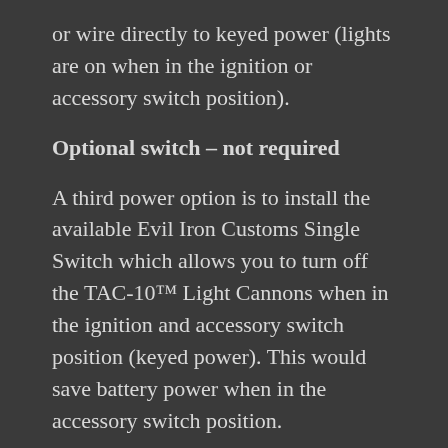or wire directly to keyed power (lights are on when in the ignition or accessory switch position).
Optional switch – not required
A third power option is to install the available Evil Iron Customs Single Switch which allows you to turn off the TAC-10™ Light Cannons when in the ignition and accessory switch position (keyed power). This would save battery power when in the accessory switch position.
Note: If you appreciate all the free content we put out and want to support us in our mission